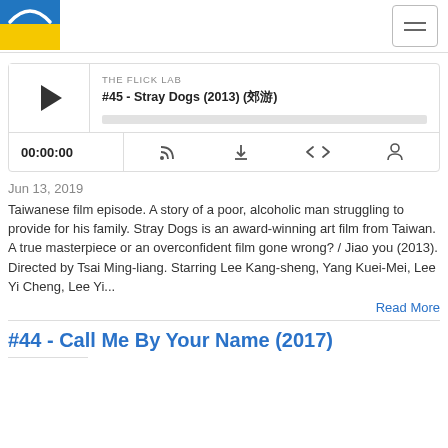THE FLICK LAB
[Figure (screenshot): Podcast player widget for episode #45 - Stray Dogs (2013) (郊游) with play button, progress bar, timestamp 00:00:00, and control icons for RSS, download, embed, and share]
Jun 13, 2019
Taiwanese film episode. A story of a poor, alcoholic man struggling to provide for his family. Stray Dogs is an award-winning art film from Taiwan. A true masterpiece or an overconfident film gone wrong? / Jiao you (2013). Directed by Tsai Ming-liang. Starring Lee Kang-sheng, Yang Kuei-Mei, Lee Yi Cheng, Lee Yi...
Read More
#44 - Call Me By Your Name (2017)